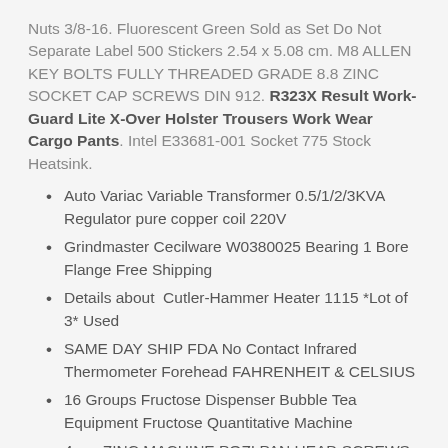Nuts 3/8-16. Fluorescent Green Sold as Set Do Not Separate Label 500 Stickers 2.54 x 5.08 cm. M8 ALLEN KEY BOLTS FULLY THREADED GRADE 8.8 ZINC SOCKET CAP SCREWS DIN 912. R323X Result Work-Guard Lite X-Over Holster Trousers Work Wear Cargo Pants. Intel E33681-001 Socket 775 Stock Heatsink.
Auto Variac Variable Transformer 0.5/1/2/3KVA Regulator pure copper coil 220V
Grindmaster Cecilware W0380025 Bearing 1 Bore Flange Free Shipping
Details about  Cutler-Hammer Heater 1115 *Lot of 3* Used
SAME DAY SHIP FDA No Contact Infrared Thermometer Forehead FAHRENHEIT & CELSIUS
16 Groups Fructose Dispenser Bubble Tea Equipment Fructose Quantitative Machine
4mm ZINC MACHINE POZI PAN HEAD SCREWS